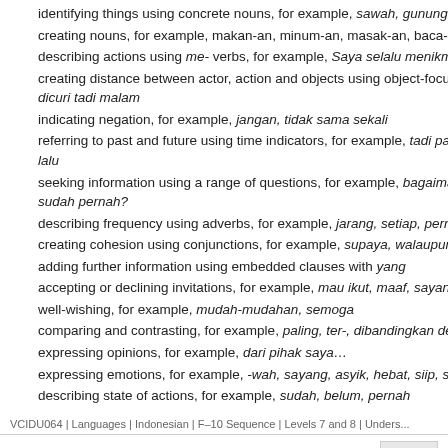identifying things using concrete nouns, for example, sawah, gunung ap...
creating nouns, for example, makan-an, minum-an, masak-an, baca-an
describing actions using me- verbs, for example, Saya selalu menikmati ...
creating distance between actor, action and objects using object-focus co... dicuri tadi malam
indicating negation, for example, jangan, tidak sama sekali
referring to past and future using time indicators, for example, tadi pagi, n... lalu
seeking information using a range of questions, for example, bagaimana,... sudah pernah?
describing frequency using adverbs, for example, jarang, setiap, pernah,...
creating cohesion using conjunctions, for example, supaya, walaupun
adding further information using embedded clauses with yang
accepting or declining invitations, for example, mau ikut, maaf, sayang
well-wishing, for example, mudah-mudahan, semoga
comparing and contrasting, for example, paling, ter-, dibandingkan denga...
expressing opinions, for example, dari pihak saya…
expressing emotions, for example, -wah, sayang, asyik, hebat, siip, seru...
describing state of actions, for example, sudah, belum, pernah
VCIDU064 | Languages | Indonesian | F–10 Sequence | Levels 7 and 8 | Unders...
VCIDU102
Notice connections between language and culture in intercultural language...